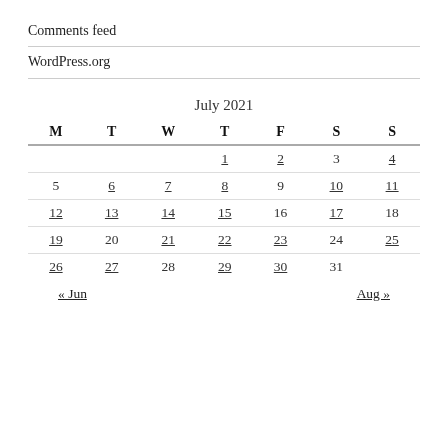Comments feed
WordPress.org
July 2021
| M | T | W | T | F | S | S |
| --- | --- | --- | --- | --- | --- | --- |
|  |  |  | 1 | 2 | 3 | 4 |
| 5 | 6 | 7 | 8 | 9 | 10 | 11 |
| 12 | 13 | 14 | 15 | 16 | 17 | 18 |
| 19 | 20 | 21 | 22 | 23 | 24 | 25 |
| 26 | 27 | 28 | 29 | 30 | 31 |  |
« Jun    Aug »